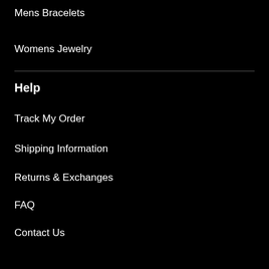Mens Bracelets
Womens Jewelry
Help
Track My Order
Shipping Information
Returns & Exchanges
FAQ
Contact Us
Wholesale Inquiries
About
Our Story